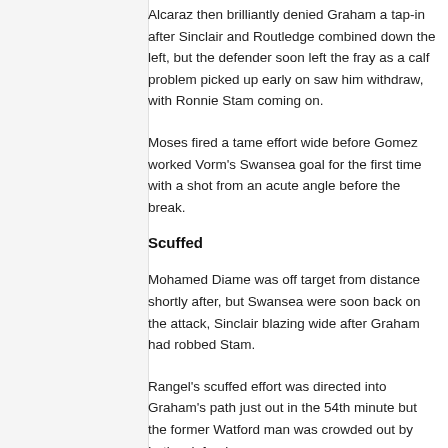Alcaraz then brilliantly denied Graham a tap-in after Sinclair and Routledge combined down the left, but the defender soon left the fray as a calf problem picked up early on saw him withdraw, with Ronnie Stam coming on.
Moses fired a tame effort wide before Gomez worked Vorm's Swansea goal for the first time with a shot from an acute angle before the break.
Scuffed
Mohamed Diame was off target from distance shortly after, but Swansea were soon back on the attack, Sinclair blazing wide after Graham had robbed Stam.
Rangel's scuffed effort was directed into Graham's path just out in the 54th minute but the former Watford man was crowded out by Latics defenders.
But Wigan were posing a greater threat than in the first half, the dangerous Moses had an effort diverted wide by an A